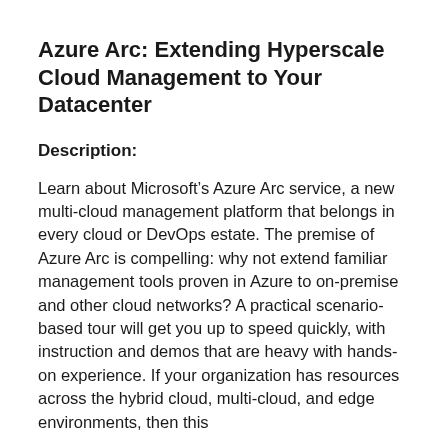Azure Arc: Extending Hyperscale Cloud Management to Your Datacenter
Description:
Learn about Microsoft’s Azure Arc service, a new multi-cloud management platform that belongs in every cloud or DevOps estate. The premise of Azure Arc is compelling: why not extend familiar management tools proven in Azure to on-premise and other cloud networks? A practical scenario-based tour will get you up to speed quickly, with instruction and demos that are heavy with hands-on experience. If your organization has resources across the hybrid cloud, multi-cloud, and edge environments, then this